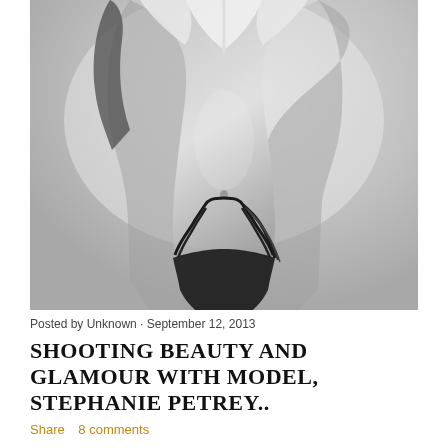[Figure (photo): Black and white glamour photo of female model wearing white bikini top and black strappy bikini bottoms, torso centered, slightly cropped, studio background]
Posted by Unknown · September 12, 2013
SHOOTING BEAUTY AND GLAMOUR WITH MODEL, STEPHANIE PETREY..
Share   8 comments